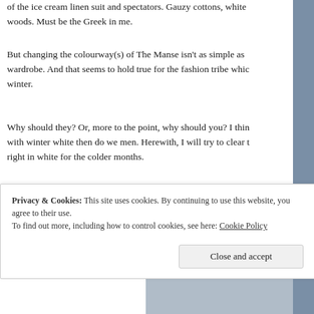of the ice cream linen suit and spectators. Gauzy cottons, white woods. Must be the Greek in me.
But changing the colourway(s) of The Manse isn't as simple as wardrobe. And that seems to hold true for the fashion tribe which winter.
Why should they? Or, more to the point, why should you? I thin with winter white then do we men. Herewith, I will try to clear right in white for the colder months.
1) The sweater. It's a sweater. It is designed to be used to combat function in this case. Below, a Royal Navy vintage submariner s
Privacy & Cookies: This site uses cookies. By continuing to use this website, you agree to their use.
To find out more, including how to control cookies, see here: Cookie Policy
Close and accept